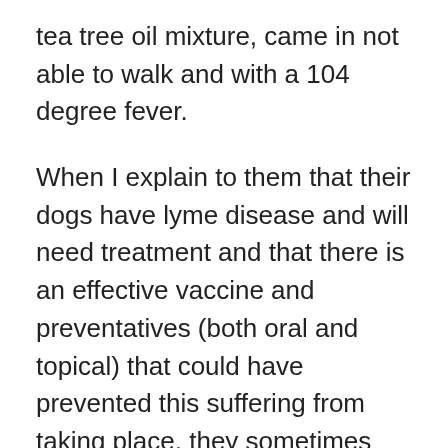tea tree oil mixture, came in not able to walk and with a 104 degree fever.
When I explain to them that their dogs have lyme disease and will need treatment and that there is an effective vaccine and preventatives (both oral and topical) that could have prevented this suffering from taking place, they sometimes still call the breeder for advice and a second opinion. No, a watered down mixture of eye of newt